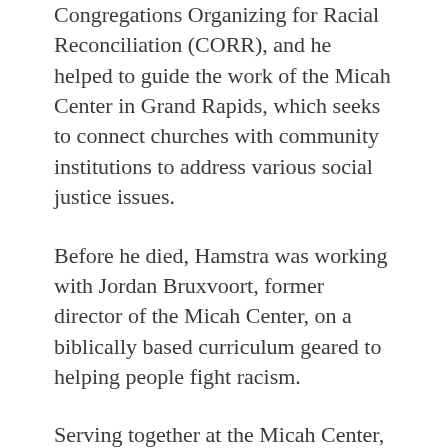Congregations Organizing for Racial Reconciliation (CORR), and he helped to guide the work of the Micah Center in Grand Rapids, which seeks to connect churches with community institutions to address various social justice issues.
Before he died, Hamstra was working with Jordan Bruxvoort, former director of the Micah Center, on a biblically based curriculum geared to helping people fight racism.
Serving together at the Micah Center, Hamstra and Bruxvoort also addressed issues of immigration, worker's rights, racial equity and payday lending.
“Albert put a lot of heart and time into causes he